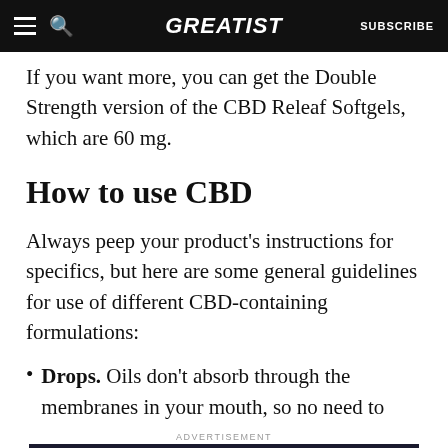GREATIST | SUBSCRIBE
If you want more, you can get the Double Strength version of the CBD Releaf Softgels, which are 60 mg.
How to use CBD
Always peep your product's instructions for specifics, but here are some general guidelines for use of different CBD-containing formulations:
Drops. Oils don't absorb through the membranes in your mouth, so no need to
[Figure (screenshot): Advertisement banner: Let's be friends with (health) benefits. Follow GREATIST on Instagram. FOLLOW US button.]